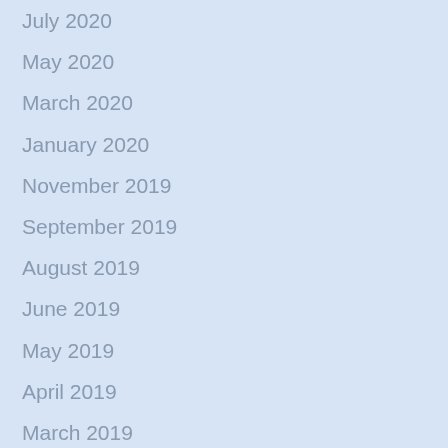July 2020
May 2020
March 2020
January 2020
November 2019
September 2019
August 2019
June 2019
May 2019
April 2019
March 2019
February 2019
November 2018
September 2018
July 2018